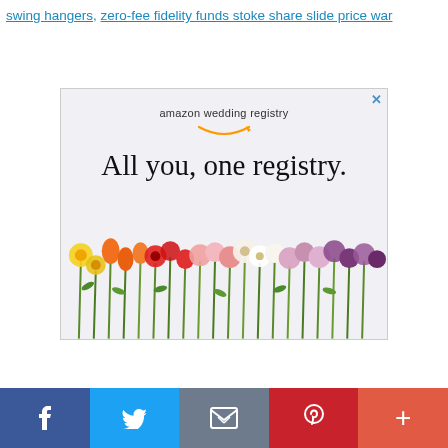swing hangers, zero-fee fidelity funds stoke share slide price war
[Figure (illustration): Amazon wedding registry advertisement. White background with text 'amazon wedding registry' and curved smile logo, large serif text 'All you, one registry.' and a colorful arrangement of flowers (yellow daffodils, orange tulips, red flowers, pink and white peonies, purple flowers) laid horizontally across bottom of ad. Small X close button in top right corner.]
Social sharing bar with Facebook, Twitter, Email, Pinterest, and More (+) buttons